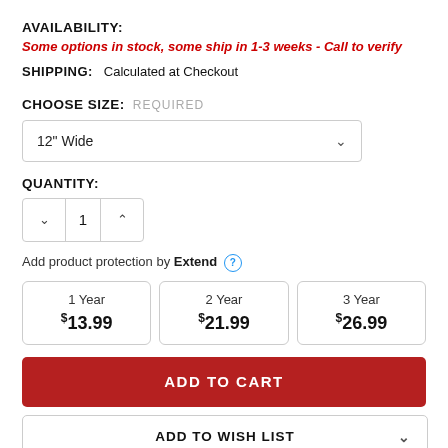AVAILABILITY:
Some options in stock, some ship in 1-3 weeks - Call to verify
SHIPPING:   Calculated at Checkout
CHOOSE SIZE:  REQUIRED
12" Wide
QUANTITY:
1
Add product protection by Extend
1 Year $13.99
2 Year $21.99
3 Year $26.99
ADD TO CART
ADD TO WISH LIST